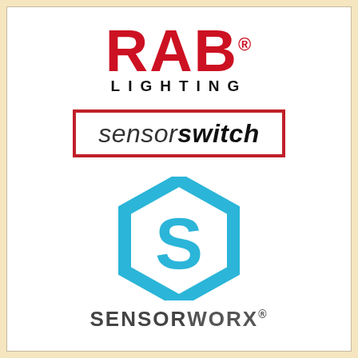[Figure (logo): RAB Lighting logo — large red bold letters 'RAB' with registered trademark, and 'LIGHTING' in spaced black text below]
[Figure (logo): Sensor Switch logo — italic text 'sensor' (light) and 'switch' (bold) inside a red rectangular border]
[Figure (logo): SensorWorx logo — blue hexagon with 'S' letter inside, and 'SENSORWORX' text with registered trademark below]